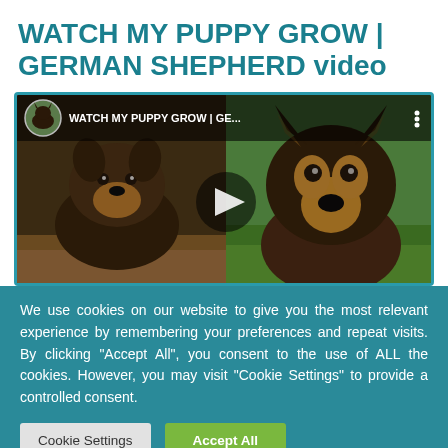WATCH MY PUPPY GROW | GERMAN SHEPHERD video
[Figure (screenshot): YouTube video thumbnail showing a German Shepherd puppy on the left and an adult German Shepherd on the right, with a play button overlay and channel info bar at the top reading 'WATCH MY PUPPY GROW | GE...']
We use cookies on our website to give you the most relevant experience by remembering your preferences and repeat visits. By clicking “Accept All”, you consent to the use of ALL the cookies. However, you may visit "Cookie Settings" to provide a controlled consent.
Cookie Settings   Accept All